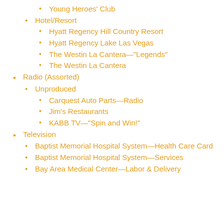Young Heroes' Club
Hotel/Resort
Hyatt Regency Hill Country Resort
Hyatt Regency Lake Las Vegas
The Westin La Cantera—"Legends"
The Westin La Cantera
Radio (Assorted)
Unproduced
Carquest Auto Parts—Radio
Jim's Restaurants
KABB TV—"Spin and Win!"
Television
Baptist Memorial Hospital System—Health Care Card
Baptist Memorial Hospital System—Services
Bay Area Medical Center—Labor & Delivery